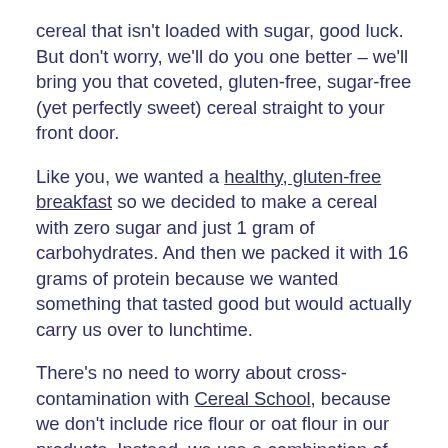cereal that isn't loaded with sugar, good luck. But don't worry, we'll do you one better – we'll bring you that coveted, gluten-free, sugar-free (yet perfectly sweet) cereal straight to your front door.
Like you, we wanted a healthy, gluten-free breakfast so we decided to make a cereal with zero sugar and just 1 gram of carbohydrates. And then we packed it with 16 grams of protein because we wanted something that tasted good but would actually carry us over to lunchtime.
There's no need to worry about cross-contamination with Cereal School, because we don't include rice flour or oat flour in our products. Instead, we use a combination of protein and tapioca fiber, then sweeten it with monk fruit and cinnamon, for the sweetest (yet low glycemic) morning bowl.